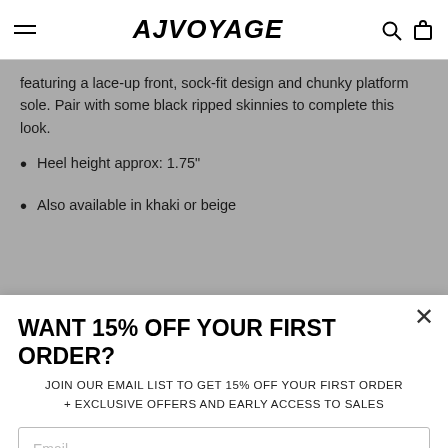AJVOYAGE
featuring a lace-up front, sock-fit design and chunky platform sole. Pair with some black ripped skinnies to complete this look.
Heel height approx: 1.75"
Also available in khaki or beige
[Figure (other): Black promotional banner section]
WANT 15% OFF YOUR FIRST ORDER?
JOIN OUR EMAIL LIST TO GET 15% OFF YOUR FIRST ORDER + EXCLUSIVE OFFERS AND EARLY ACCESS TO SALES
Email (input field placeholder)